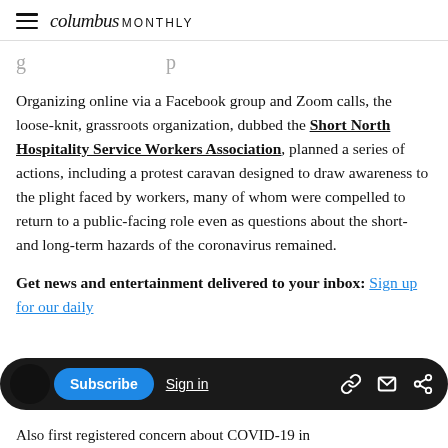columbus MONTHLY
g p
Organizing online via a Facebook group and Zoom calls, the loose-knit, grassroots organization, dubbed the Short North Hospitality Service Workers Association, planned a series of actions, including a protest caravan designed to draw awareness to the plight faced by workers, many of whom were compelled to return to a public-facing role even as questions about the short- and long-term hazards of the coronavirus remained.
Get news and entertainment delivered to your inbox: Sign up for our daily
Also first registered concern about COVID-19 in